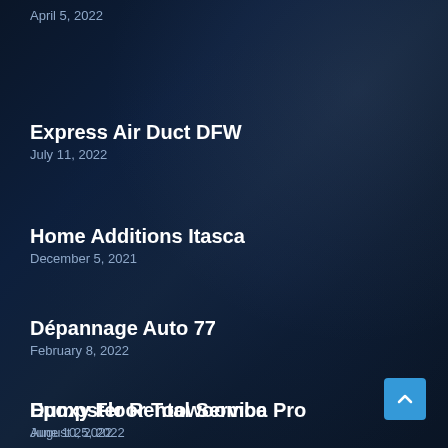April 5, 2022
Express Air Duct DFW
July 11, 2022
Home Additions Itasca
December 5, 2021
Dépannage Auto 77
February 8, 2022
Dumpster Rental Service
June 10, 2022
Epoxy Floor Toowoomba Pro
August 25, 2022